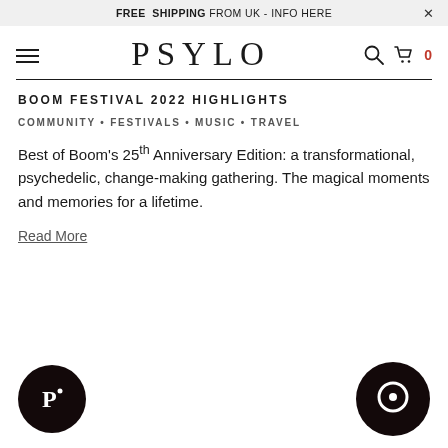FREE SHIPPING FROM UK - INFO HERE  ×
PSYLO
BOOM FESTIVAL 2022 HIGHLIGHTS
COMMUNITY • FESTIVALS • MUSIC • TRAVEL
Best of Boom's 25th Anniversary Edition: a transformational, psychedelic, change-making gathering. The magical moments and memories for a lifetime.
Read More
[Figure (logo): Psylo brand avatar circle with stylized P logo on dark background]
[Figure (logo): Chat bubble icon on dark circle background]